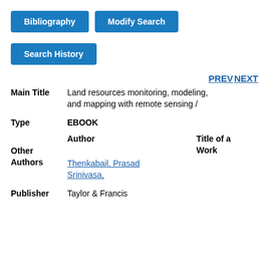Bibliography
Modify Search
Search History
PREV NEXT
| Field | Value |
| --- | --- |
| Main Title | Land resources monitoring, modeling, and mapping with remote sensing / |
| Type | EBOOK |
| Other Authors | Author | Title of a Work
Thenkabail, Prasad Srinivasa, |
| Publisher | Taylor & Francis |